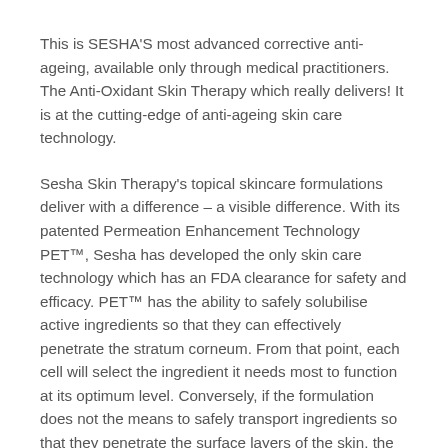This is SESHA'S most advanced corrective anti-ageing, available only through medical practitioners. The Anti-Oxidant Skin Therapy which really delivers! It is at the cutting-edge of anti-ageing skin care technology.
Sesha Skin Therapy's topical skincare formulations deliver with a difference – a visible difference. With its patented Permeation Enhancement Technology PET™, Sesha has developed the only skin care technology which has an FDA clearance for safety and efficacy. PET™ has the ability to safely solubilise active ingredients so that they can effectively penetrate the stratum corneum. From that point, each cell will select the ingredient it needs most to function at its optimum level. Conversely, if the formulation does not the means to safely transport ingredients so that they penetrate the surface layers of the skin, the nutrients will simply sit on the surface of the skin, relieving only